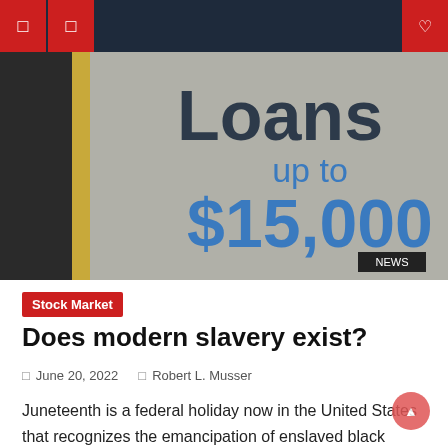Navigation bar with menu icons and search
[Figure (photo): Photo of a sign reading 'Loans up to $15,000' on dark background]
Stock Market
Does modern slavery exist?
June 20, 2022   Robert L. Musser
Juneteenth is a federal holiday now in the United States that recognizes the emancipation of enslaved black Americans. June 19, celebrated on June 19, celebrates the release of the last of 250,000 enslaved black people when 2,000 union